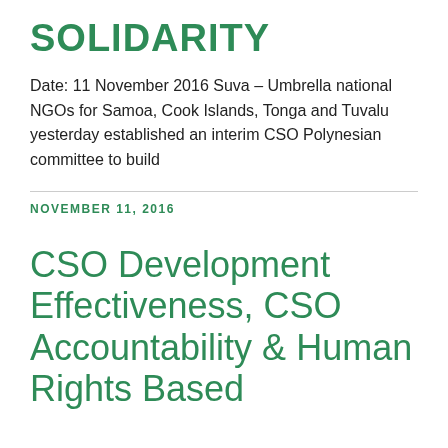SOLIDARITY
Date: 11 November 2016 Suva – Umbrella national NGOs for Samoa, Cook Islands, Tonga and Tuvalu yesterday established an interim CSO Polynesian committee to build
NOVEMBER 11, 2016
CSO Development Effectiveness, CSO Accountability & Human Rights Based